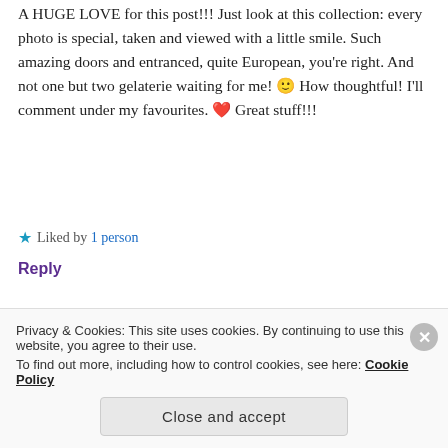A HUGE LOVE for this post!!! Just look at this collection: every photo is special, taken and viewed with a little smile. Such amazing doors and entranced, quite European, you're right. And not one but two gelaterie waiting for me! 🙂 How thoughtful! I'll comment under my favourites. ❤ Great stuff!!!
★ Liked by 1 person
Reply
[Figure (photo): Avatar photo of a person with blonde hair and glasses]
fetchingtheworld
Privacy & Cookies: This site uses cookies. By continuing to use this website, you agree to their use. To find out more, including how to control cookies, see here: Cookie Policy
Close and accept